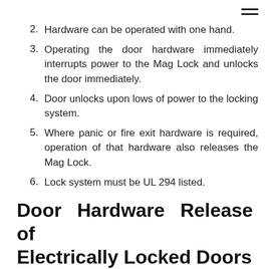2. Hardware can be operated with one hand.
3. Operating the door hardware immediately interrupts power to the Mag Lock and unlocks the door immediately.
4. Door unlocks upon lows of power to the locking system.
5. Where panic or fire exit hardware is required, operation of that hardware also releases the Mag Lock.
6. Lock system must be UL 294 listed.
Door Hardware Release of Electrically Locked Doors